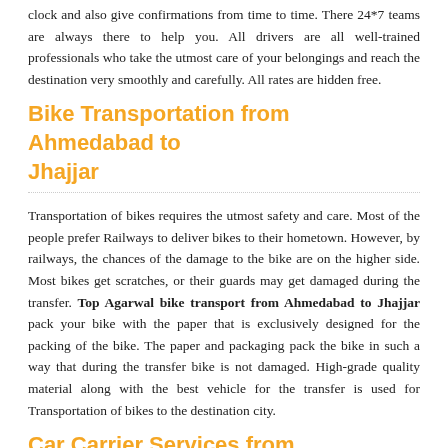clock and also give confirmations from time to time. There 24*7 teams are always there to help you. All drivers are all well-trained professionals who take the utmost care of your belongings and reach the destination very smoothly and carefully. All rates are hidden free.
Bike Transportation from Ahmedabad to Jhajjar
Transportation of bikes requires the utmost safety and care. Most of the people prefer Railways to deliver bikes to their hometown. However, by railways, the chances of the damage to the bike are on the higher side. Most bikes get scratches, or their guards may get damaged during the transfer. Top Agarwal bike transport from Ahmedabad to Jhajjar pack your bike with the paper that is exclusively designed for the packing of the bike. The paper and packaging pack the bike in such a way that during the transfer bike is not damaged. High-grade quality material along with the best vehicle for the transfer is used for Transportation of bikes to the destination city.
Car Carrier Services from Ahmedabad to Jhajjar
Our company has an outstanding track record who are working with